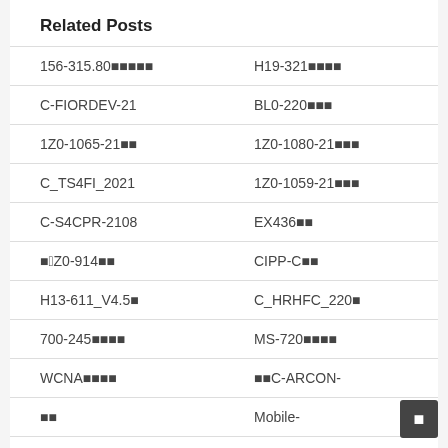Related Posts
156-315.80■■■■■
H19-321■■■■
C-FIORDEV-21
BL0-220■■■
1Z0-1065-21■■
1Z0-1080-21■■■
C_TS4FI_2021
1Z0-1059-21■■■
C-S4CPR-2108
EX436■■
■■1Z0-914■■
CIPP-C■■
H13-611_V4.5■
C_HRHFC_220■
700-245■■■■
MS-720■■■■
WCNA■■■■
■■C-ARCON-
■■
Mobile-
C-HRHPC-